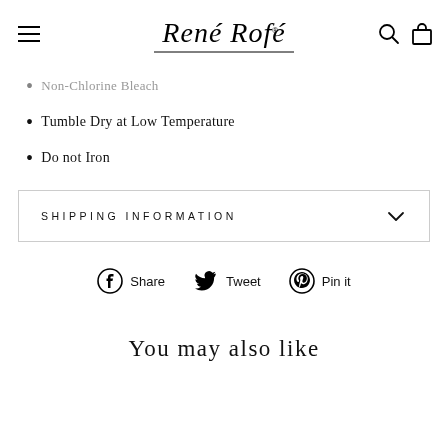René Rofé
Non-Chlorine Bleach
Tumble Dry at Low Temperature
Do not Iron
SHIPPING INFORMATION
Share  Tweet  Pin it
You may also like